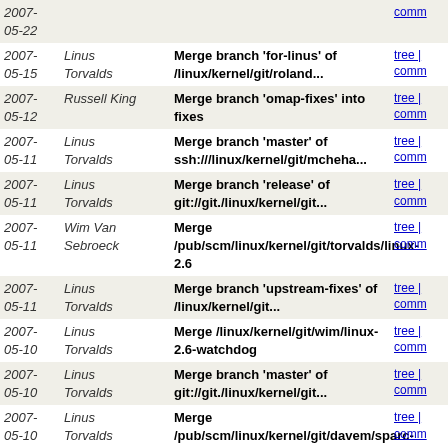| Date | Author | Message | Links |
| --- | --- | --- | --- |
| 2007-05-22 |  |  | tree | comm |
| 2007-05-15 | Linus Torvalds | Merge branch 'for-linus' of /linux/kernel/git/roland... | tree | comm |
| 2007-05-12 | Russell King | Merge branch 'omap-fixes' into fixes | tree | comm |
| 2007-05-11 | Linus Torvalds | Merge branch 'master' of ssh:///linux/kernel/git/mcheha... | tree | comm |
| 2007-05-11 | Linus Torvalds | Merge branch 'release' of git://git./linux/kernel/git... | tree | comm |
| 2007-05-11 | Wim Van Sebroeck | Merge /pub/scm/linux/kernel/git/torvalds/linux-2.6 | tree | comm |
| 2007-05-11 | Linus Torvalds | Merge branch 'upstream-fixes' of /linux/kernel/git... | tree | comm |
| 2007-05-10 | Linus Torvalds | Merge /linux/kernel/git/wim/linux-2.6-watchdog | tree | comm |
| 2007-05-10 | Linus Torvalds | Merge branch 'master' of git://git./linux/kernel/git... | tree | comm |
| 2007-05-10 | Linus Torvalds | Merge /pub/scm/linux/kernel/git/davem/sparc-2.6 | tree | comm |
| 2007-05-10 | Linus Torvalds | Merge branch 'release' of git://git./linux/kernel/git... | tree | comm |
| 2007-05-10 | Linus Torvalds | Merge branch 'juju' of git://git./linux/kernel/git... | tree | comm |
| 2007-05-10 | Linus Torvalds | Merge branch 'for-linus' of git://git390.osdl.marist... | tree | comm |
| 2007-05-10 | Martin Schwidefsky | [S390] Kconfig: refine depends statements. | tree | comm |